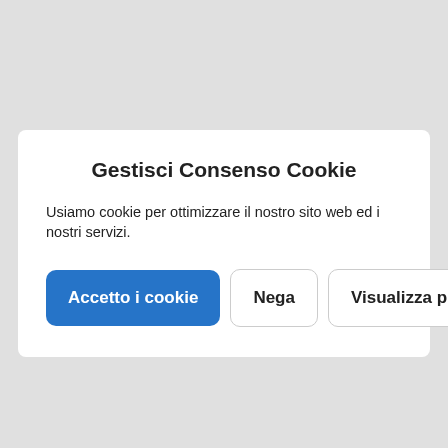Gestisci Consenso Cookie
Usiamo cookie per ottimizzare il nostro sito web ed i nostri servizi.
Accetto i cookie | Nega | Visualizza preference